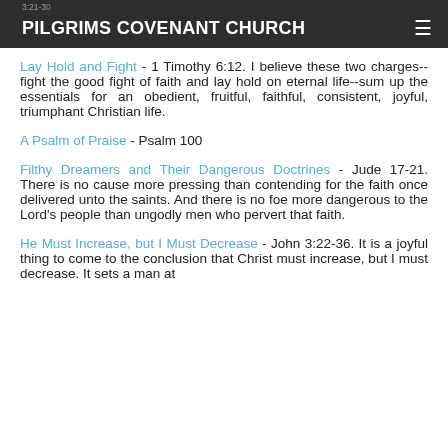PILGRIMS COVENANT CHURCH
Lay Hold and Fight - 1 Timothy 6:12. I believe these two charges--fight the good fight of faith and lay hold on eternal life--sum up the essentials for an obedient, fruitful, faithful, consistent, joyful, triumphant Christian life.
A Psalm of Praise - Psalm 100
Filthy Dreamers and Their Dangerous Doctrines - Jude 17-21. There is no cause more pressing than contending for the faith once delivered unto the saints. And there is no foe more dangerous to the Lord's people than ungodly men who pervert that faith.
He Must Increase, but I Must Decrease - John 3:22-36. It is a joyful thing to come to the conclusion that Christ must increase, but I must decrease. It sets a man at